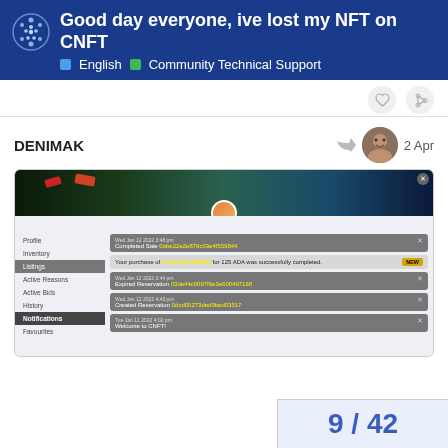Good day everyone, ive lost my NFT on CNFT | English | Community Technical Support
DENIMAK
2 Apr
[Figure (screenshot): Screenshot of CNFT.io notification panel showing: Completed Sale transaction, a purchase of TerraToken(0349) for 125 ADA successfully completed (NEW badge), Expired Reservation entries, and Welcome to CNFT message. Sidebar shows Profile, Inventory, Listings, Active Reasons, Active Bids, History, Notifications (active), Favourites.]
9 / 42